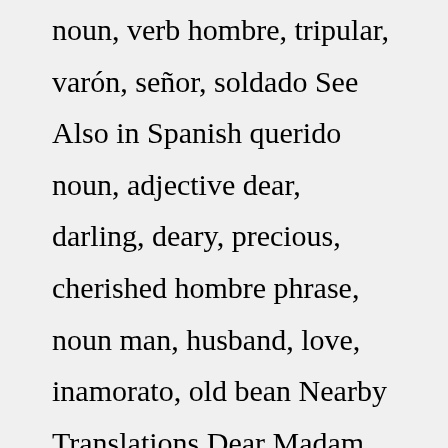noun, verb hombre, tripular, varón, señor, soldado See Also in Spanish querido noun, adjective dear, darling, deary, precious, cherished hombre phrase, noun man, husband, love, inamorato, old bean Nearby Translations Dear Madam dearly loved DEAR MAN is an acronym that is taught within DBT – this learned method is part of the interpersonal effectiveness skills. The practice is intended to be used by the patient